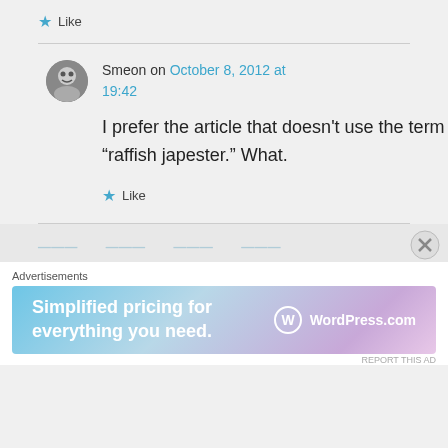★ Like
Smeon on October 8, 2012 at 19:42
I prefer the article that doesn't use the term “raffish japester.” What.
★ Like
Advertisements
[Figure (screenshot): WordPress.com advertisement banner: 'Simplified pricing for everything you need.' with WordPress.com logo]